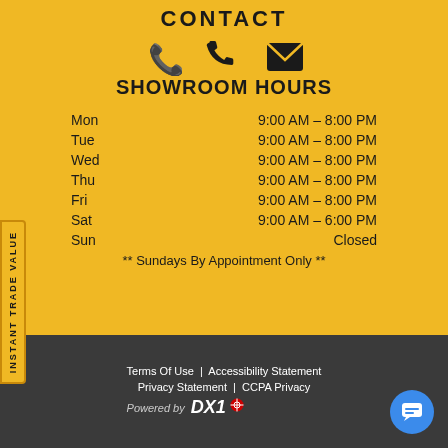CONTACT
[Figure (illustration): Phone icon and email/envelope icon in dark color on yellow background]
SHOWROOM HOURS
| Mon | 9:00 AM - 8:00 PM |
| Tue | 9:00 AM - 8:00 PM |
| Wed | 9:00 AM - 8:00 PM |
| Thu | 9:00 AM - 8:00 PM |
| Fri | 9:00 AM - 8:00 PM |
| Sat | 9:00 AM - 6:00 PM |
| Sun | Closed |
** Sundays By Appointment Only **
Terms Of Use | Accessibility Statement | Privacy Statement | CCPA Privacy | Powered by DX1